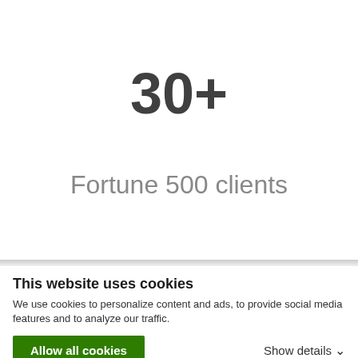30+
Fortune 500 clients
This website uses cookies
We use cookies to personalize content and ads, to provide social media features and to analyze our traffic.
Allow all cookies
Show details